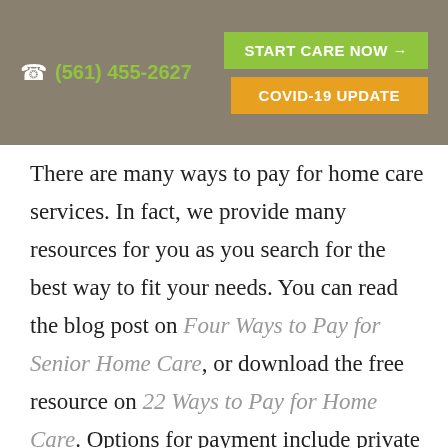☎ (561) 455-2627  START CARE NOW →  COVID-19 UPDATE
There are many ways to pay for home care services. In fact, we provide many resources for you as you search for the best way to fit your needs. You can read the blog post on Four Ways to Pay for Senior Home Care, or download the free resource on 22 Ways to Pay for Home Care. Options for payment include private pay, VA benefits, and Long Term Care Insurance.